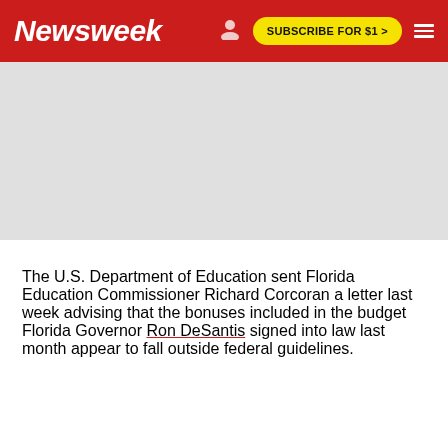Newsweek | SUBSCRIBE FOR $1 >
[Figure (other): Advertisement placeholder area with red/gray background]
The U.S. Department of Education sent Florida Education Commissioner Richard Corcoran a letter last week advising that the bonuses included in the budget Florida Governor Ron DeSantis signed into law last month appear to fall outside federal guidelines.